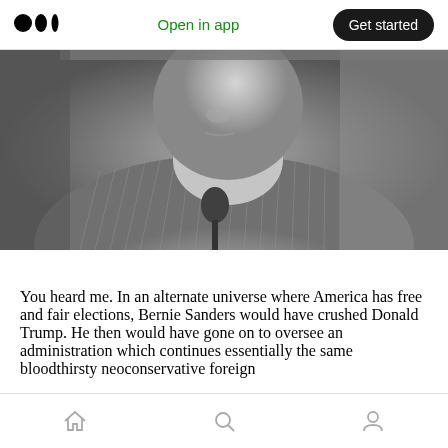Medium logo | Open in app | Get started
[Figure (photo): Black and white close-up photo of an elderly man speaking into a microphone, wearing a striped shirt, with his head slightly tilted]
You heard me. In an alternate universe where America has free and fair elections, Bernie Sanders would have crushed Donald Trump. He then would have gone on to oversee an administration which continues essentially the same bloodthirsty neoconservative foreign
Home | Search | Profile